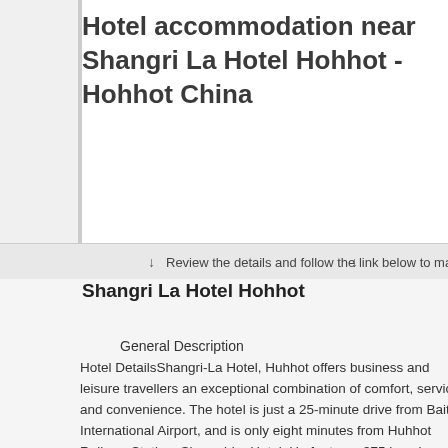Hotel accommodation near Shangri La Hotel Hohhot - Hohhot China
↓   Review the details and follow the link below to make a booking   ↓
Shangri La Hotel Hohhot
General Description
Hotel DetailsShangri-La Hotel, Huhhot offers business and leisure travellers an exceptional combination of comfort, service and convenience. The hotel is just a 25-minute drive from Baita International Airport, and is only eight minutes from Huhhot Railway Station. Shangri-La Hotel, Hu features 375 luxurious guestrooms and suites designed in contemporary style, as well as 11 spacious serviced apartments. The largest grand ballroom among other Huhhot hotels in the city and another 10 well-appointed function rooms provide full state-of-the-art conference facilities to satisfy all meeting and event requirements. Shang Palace, Xi